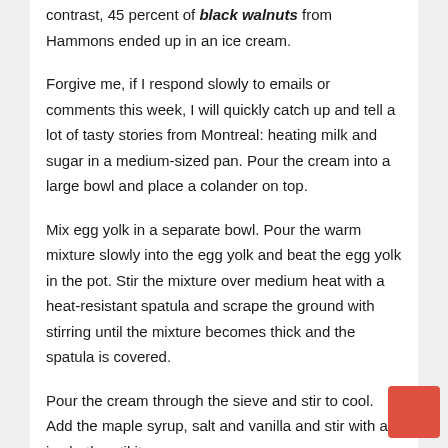contrast, 45 percent of black walnuts from Hammons ended up in an ice cream.
Forgive me, if I respond slowly to emails or comments this week, I will quickly catch up and tell a lot of tasty stories from Montreal: heating milk and sugar in a medium-sized pan. Pour the cream into a large bowl and place a colander on top.
Mix egg yolk in a separate bowl. Pour the warm mixture slowly into the egg yolk and beat the egg yolk in the pot. Stir the mixture over medium heat with a heat-resistant spatula and scrape the ground with stirring until the mixture becomes thick and the spatula is covered.
Pour the cream through the sieve and stir to cool. Add the maple syrup, salt and vanilla and stir with an ice bath until it